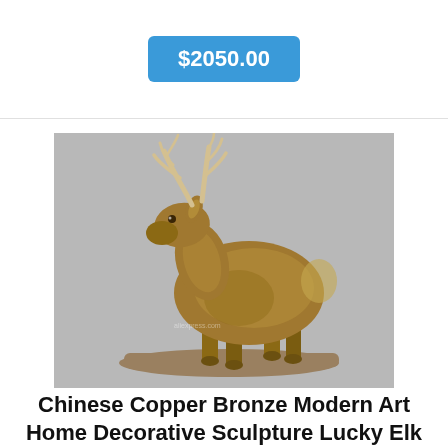$2050.00
[Figure (photo): Bronze/copper colored elk sculpture standing on a base, with large antlers, side profile view against a gray background.]
Chinese Copper Bronze Modern Art Home Decorative Sculpture Lucky Elk